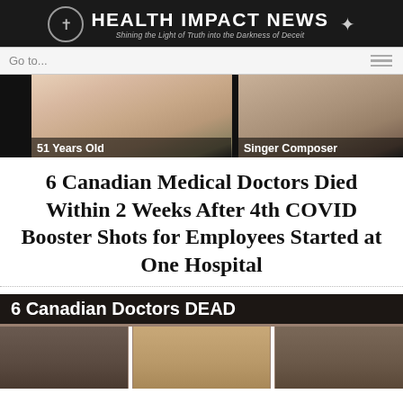HEALTH IMPACT NEWS — Shining the Light of Truth into the Darkness of Deceit
[Figure (photo): Navigation bar with 'Go to...' text and hamburger menu icon]
[Figure (photo): Two smiling people side by side with labels '51 Years Old' and 'Singer Composer' on black background]
6 Canadian Medical Doctors Died Within 2 Weeks After 4th COVID Booster Shots for Employees Started at One Hospital
[Figure (photo): Three people's faces at bottom with overlay text '6 Canadian Doctors DEAD']